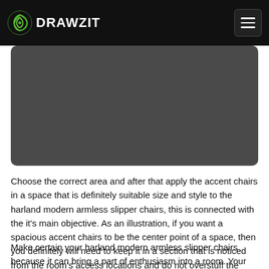DRAWZIT
[Figure (photo): Large dark gray rounded rectangle placeholder image area]
Choose the correct area and after that apply the accent chairs in a space that is definitely suitable size and style to the harland modern armless slipper chairs, this is connected with the it's main objective. As an illustration, if you want a spacious accent chairs to be the center point of a space, then you definitely will need to keep it in a section that is noticed from the room's access locations and do not overstuff the element with the room's design.
Make certain your harland modern armless slipper chairs because it can bring a part of enthusiasm into a room. Your preference of